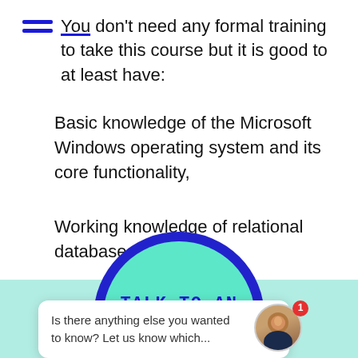You don't need any formal training to take this course but it is good to at least have:
Basic knowledge of the Microsoft Windows operating system and its core functionality,
Working knowledge of relational databases.
[Figure (illustration): A teal/mint colored circle with a dark blue border on a light teal background rectangle. Inside the circle, bold monospace text reads 'TALK TO AN ADVISOR' in dark blue.]
Is there anything else you wanted to know? Let us know which...